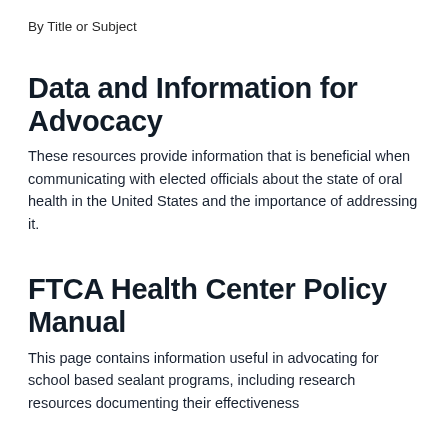By Title or Subject
Data and Information for Advocacy
These resources provide information that is beneficial when communicating with elected officials about the state of oral health in the United States and the importance of addressing it.
FTCA Health Center Policy Manual
This page contains information useful in advocating for school based sealant programs, including research resources documenting their effectiveness